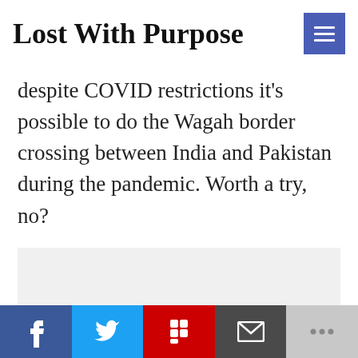Lost With Purpose
despite COVID restrictions it’s possible to do the Wagah border crossing between India and Pakistan during the pandemic. Worth a try, no?
[Figure (other): Light gray advertisement placeholder box]
Social share bar: Facebook, Twitter, Flipboard, Email, More